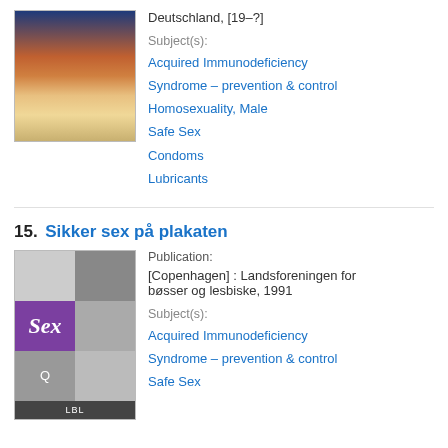Deutschland, [19–?]
Subject(s):
Acquired Immunodeficiency Syndrome – prevention & control
Homosexuality, Male
Safe Sex
Condoms
Lubricants
15. Sikker sex på plakaten
[Figure (photo): Book cover with purple and black-and-white photo grid, title 'Sex på plakaten']
Publication:
[Copenhagen] : Landsforeningen for bøsser og lesbiske, 1991
Subject(s):
Acquired Immunodeficiency Syndrome – prevention & control
Safe Sex